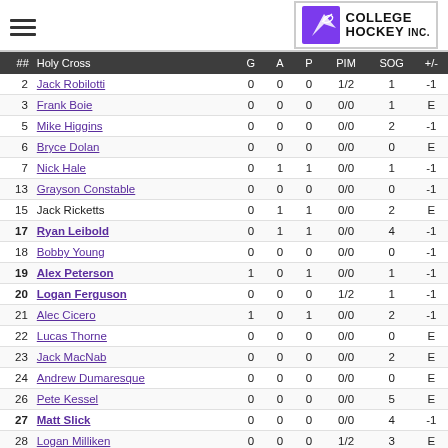College Hockey Inc.
| ## | Holy Cross | G | A | P | PIM | SOG | +/- |
| --- | --- | --- | --- | --- | --- | --- | --- |
| 2 | Jack Robilotti | 0 | 0 | 0 | 1/2 | 1 | -1 |
| 3 | Frank Boie | 0 | 0 | 0 | 0/0 | 1 | E |
| 5 | Mike Higgins | 0 | 0 | 0 | 0/0 | 2 | -1 |
| 6 | Bryce Dolan | 0 | 0 | 0 | 0/0 | 0 | E |
| 7 | Nick Hale | 0 | 1 | 1 | 0/0 | 1 | -1 |
| 13 | Grayson Constable | 0 | 0 | 0 | 0/0 | 0 | -1 |
| 15 | Jack Ricketts | 0 | 1 | 1 | 0/0 | 2 | E |
| 17 | Ryan Leibold | 0 | 1 | 1 | 0/0 | 4 | -1 |
| 18 | Bobby Young | 0 | 0 | 0 | 0/0 | 0 | -1 |
| 19 | Alex Peterson | 1 | 0 | 1 | 0/0 | 1 | -1 |
| 20 | Logan Ferguson | 0 | 0 | 0 | 1/2 | 1 | -1 |
| 21 | Alec Cicero | 1 | 0 | 1 | 0/0 | 2 | -1 |
| 22 | Lucas Thorne | 0 | 0 | 0 | 0/0 | 0 | E |
| 23 | Jack MacNab | 0 | 0 | 0 | 0/0 | 2 | E |
| 24 | Andrew Dumaresque | 0 | 0 | 0 | 0/0 | 0 | E |
| 26 | Pete Kessel | 0 | 0 | 0 | 0/0 | 5 | E |
| 27 | Matt Slick | 0 | 0 | 0 | 0/0 | 4 | -1 |
| 28 | Logan Milliken | 0 | 0 | 0 | 1/2 | 3 | E |
| 34 | Anthony Vincent | 0 | 0 | 0 | 0/0 | 3 | E |